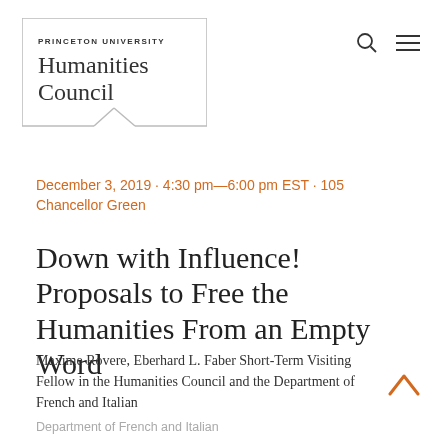[Figure (logo): Princeton University Humanities Council logo: text inside a bordered box with a notched bottom]
December 3, 2019 · 4:30 pm—6:00 pm EST · 105 Chancellor Green
Down with Influence! Proposals to Free the Humanities From an Empty Word
Maxime Rovere, Eberhard L. Faber Short-Term Visiting Fellow in the Humanities Council and the Department of French and Italian
Department of French and Italian